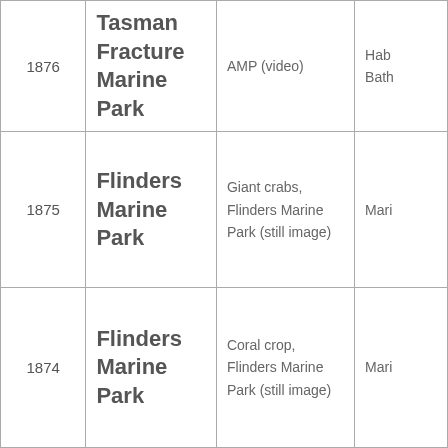| ID | Name | Description | Category |
| --- | --- | --- | --- |
| 1876 | Tasman Fracture Marine Park | AMP (video) | Hab Bath |
| 1875 | Flinders Marine Park | Giant crabs, Flinders Marine Park (still image) | Mari |
| 1874 | Flinders Marine Park | Coral crop, Flinders Marine Park (still image) | Mari |